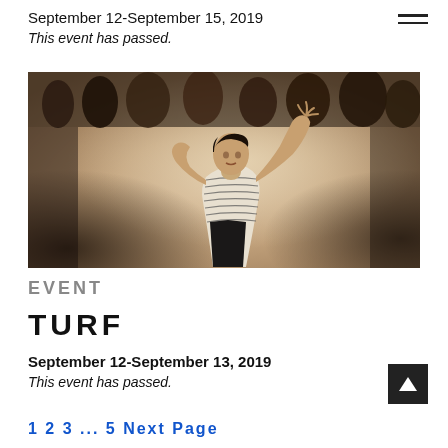September 12-September 15, 2019
This event has passed.
[Figure (photo): A dancer in a striped long-sleeve top and dark pants performs an expressive movement with arms raised and curved, in front of a seated audience in the background.]
EVENT
TURF
September 12-September 13, 2019
This event has passed.
1  2  3  ...  5  Next Page